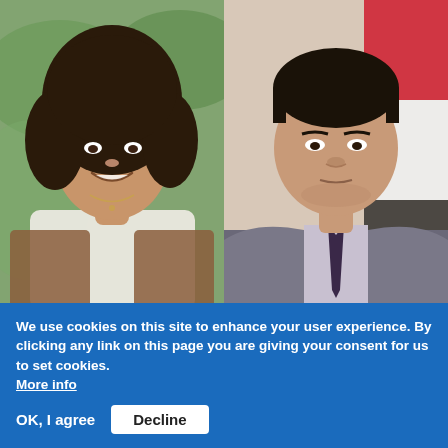[Figure (photo): Two side-by-side portrait photos. Left: a woman with curly dark hair, smiling, wearing a white top and brown jacket, outdoors with green foliage background. Right: a man in a grey suit with a patterned tie, in front of what appears to be an Iraqi flag.]
This year's Ibn Rushd Prize, focusing on religious freedom, goes to Nayla Tabbara (Lebanon) and her organisation Adyan Foundation and Saad Salloum (Iraq) with his organisation Masarat. More »
Surge of interest in Rushdie's works
We use cookies on this site to enhance your user experience. By clicking any link on this page you are giving your consent for us to set cookies. More info